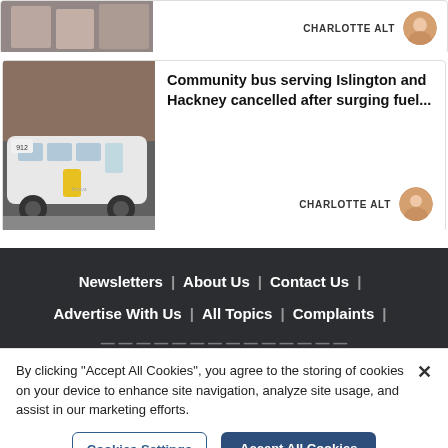[Figure (photo): Top card: photo of people/fashion, partially visible, with CHARLOTTE ALT author credit]
CHARLOTTE ALT
[Figure (photo): Community bus photo - white minibus on street]
Community bus serving Islington and Hackney cancelled after surging fuel...
CHARLOTTE ALT
Newsletters | About Us | Contact Us | Advertise With Us | All Topics | Complaints |
By clicking "Accept All Cookies", you agree to the storing of cookies on your device to enhance site navigation, analyze site usage, and assist in our marketing efforts.
Cookies Settings
Accept All Cookies